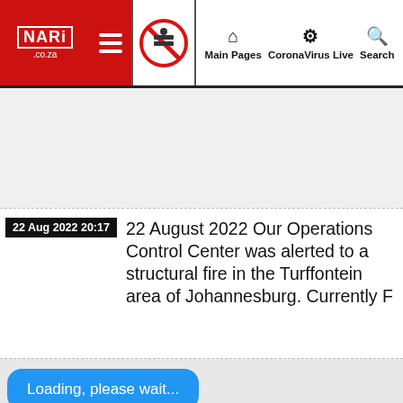NARI.co.za | Main Pages | CoronaVirus Live | Search
22 Aug 2022 20:17
22 August 2022 Our Operations Control Center was alerted to a structural fire in the Turffontein area of Johannesburg. Currently F
Loading, please wait...